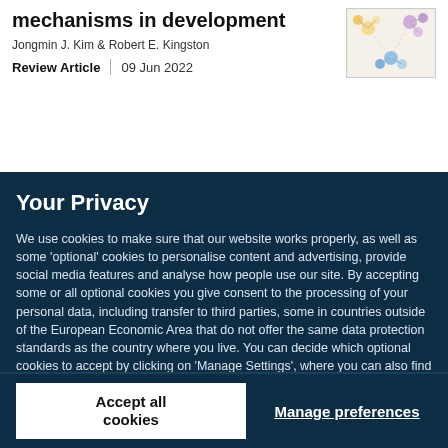mechanisms in development
Jongmin J. Kim & Robert E. Kingston
Review Article | 09 Jun 2022
[Figure (illustration): Small scientific diagram thumbnail showing molecular or cellular structures with colored nodes on a light background]
Your Privacy
We use cookies to make sure that our website works properly, as well as some 'optional' cookies to personalise content and advertising, provide social media features and analyse how people use our site. By accepting some or all optional cookies you give consent to the processing of your personal data, including transfer to third parties, some in countries outside of the European Economic Area that do not offer the same data protection standards as the country where you live. You can decide which optional cookies to accept by clicking on 'Manage Settings', where you can also find more information about how your personal data is processed. Further information can be found in our privacy policy.
Accept all cookies
Manage preferences